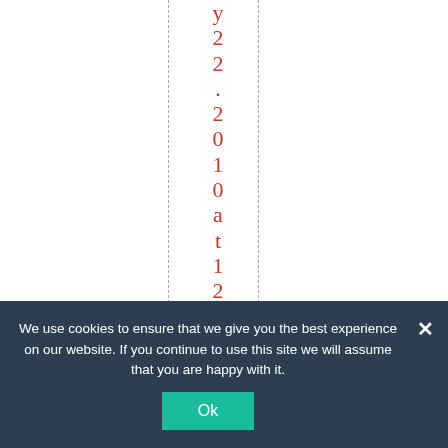y22.2010at12:53pm D
We use cookies to ensure that we give you the best experience on our website. If you continue to use this site we will assume that you are happy with it.